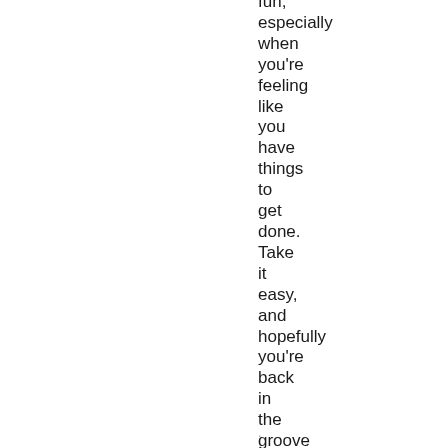fun, especially when you're feeling like you have things to get done. Take it easy, and hopefully you're back in the groove of things very soon.
.